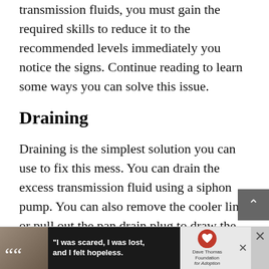transmission fluids, you must gain the required skills to reduce it to the recommended levels immediately you notice the signs. Continue reading to learn some ways you can solve this issue.
Draining
Draining is the simplest solution you can use to fix this mess. You can drain the excess transmission fluid using a siphon pump. You can also remove the cooler line or pull out the pan drain plug to draw the fluid out if your car is equipped with the component. Siphoning the liquid by mouth using a pipe is also an option bu... tive.
[Figure (other): Advertisement banner at the bottom: photo of a woman with a quote 'I was scared, I was lost, and I felt hopeless.' with Dave Thomas Foundation for Adoption logo.]